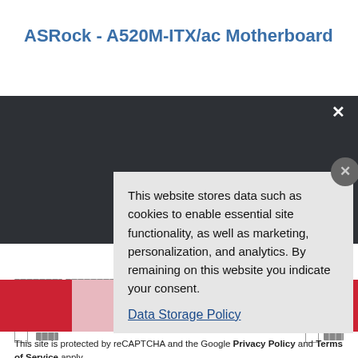ASRock - A520M-ITX/ac Motherboard
[Figure (screenshot): Screenshot of a product page with a cookie consent popup overlay. The page shows 'ASRock - A520M-ITX/ac Motherboard' in the title area. A dark navigation bar is below. A cookie consent dialog reads: 'This website stores data such as cookies to enable essential site functionality, as well as marketing, personalization, and analytics. By remaining on this website you indicate your consent.' with a 'Data Storage Policy' link. The background shows redacted/pixelated form fields and red buttons.]
This website stores data such as cookies to enable essential site functionality, as well as marketing, personalization, and analytics. By remaining on this website you indicate your consent.
Data Storage Policy
This site is protected by reCAPTCHA and the Google Privacy Policy and Terms of Service apply.